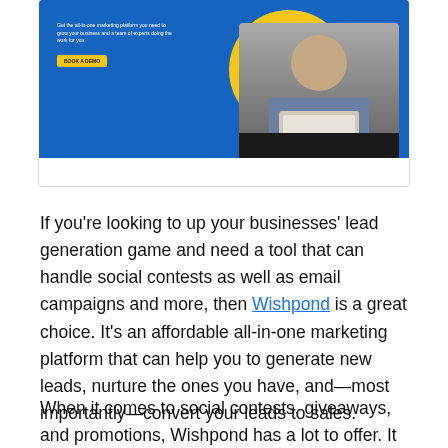[Figure (screenshot): Screenshot of Wishpond marketing platform website with blue background, yellow circle graphic, person sitting at a laptop, tagline text and a yellow 'BOOK A DEMO' button]
If you're looking to up your businesses' lead generation game and need a tool that can handle social contests as well as email campaigns and more, then Wishpond is a great choice. It's an affordable all-in-one marketing platform that can help you to generate new leads, nurture the ones you have, and—most importantly—convert your leads to sales.
When it comes to social contests, giveaways, and promotions, Wishpond has a lot to offer. It allows users to create unlimited social promotions and